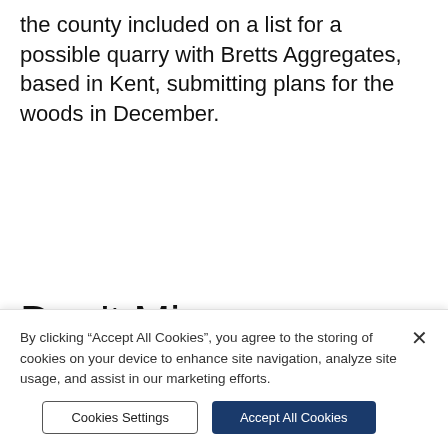the county included on a list for a possible quarry with Bretts Aggregates, based in Kent, submitting plans for the woods in December.
Don't Miss
[Figure (photo): A partial thumbnail image strip showing a photo and grey placeholder strips]
By clicking “Accept All Cookies”, you agree to the storing of cookies on your device to enhance site navigation, analyze site usage, and assist in our marketing efforts.